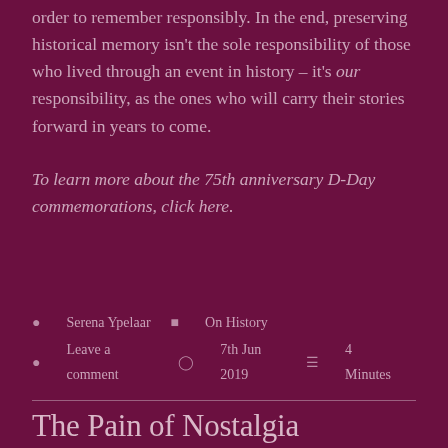order to remember responsibly. In the end, preserving historical memory isn't the sole responsibility of those who lived through an event in history – it's our responsibility, as the ones who will carry their stories forward in years to come.
To learn more about the 75th anniversary D-Day commemorations, click here.
Serena Ypelaar   On History   Leave a comment   7th Jun 2019   4 Minutes
The Pain of Nostalgia
Nostalgia hurts us. Reliving past joys causes us pain, but why? And why does this nostalgia translate to media we enjoyed at a